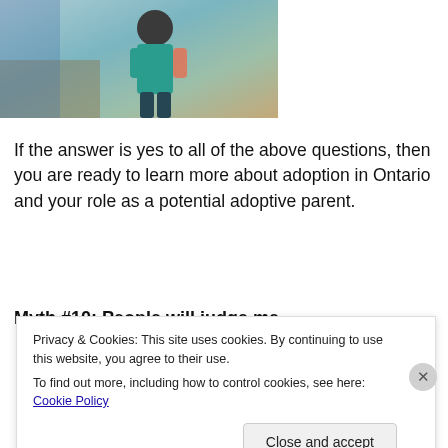[Figure (photo): Photo of a child wearing a teal/green shirt, partially visible from behind, outdoors.]
If the answer is yes to all of the above questions, then you are ready to learn more about adoption in Ontario and your role as a potential adoptive parent.
Myth #10: People will judge me.
[Figure (advertisement): WordPress advertisement banner with text 'WordPress in the back.' on an orange-pink gradient background with a pink circle shape.]
Privacy & Cookies: This site uses cookies. By continuing to use this website, you agree to their use.
To find out more, including how to control cookies, see here: Cookie Policy
Close and accept